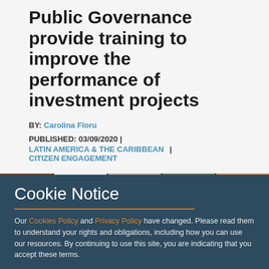Public Governance provide training to improve the performance of investment projects
BY: Carolina Floru
PUBLISHED: 03/09/2020 | LATIN AMERICA & THE CARIBBEAN | CITIZEN ENGAGEMENT
[Figure (photo): A video conference screen showing five participants in separate panels, including one panel displaying the IDEA (International Democracy and Election) logo.]
Cookie Notice
Our Cookies Policy and Privacy Policy have changed. Please read them to understand your rights and obligations, including how you can use our resources. By continuing to use this site, you are indicating that you accept these terms.